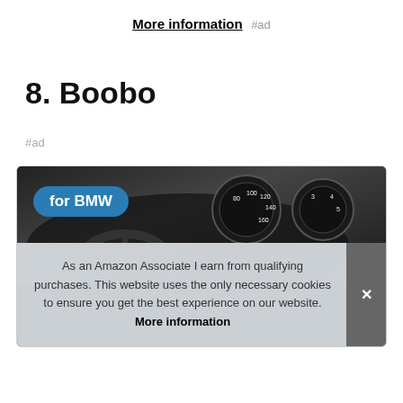More information #ad
8. Boobo
#ad
[Figure (photo): BMW dashboard/steering wheel photo with 'for BMW' blue badge overlay and cookie consent overlay]
As an Amazon Associate I earn from qualifying purchases. This website uses the only necessary cookies to ensure you get the best experience on our website. More information